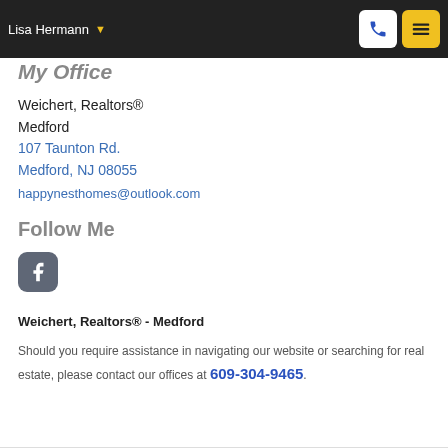Lisa Hermann
My Office
Weichert, Realtors®
Medford
107 Taunton Rd.
Medford, NJ 08055
happynesthomes@outlook.com
Follow Me
[Figure (logo): Facebook icon button (gray rounded square with white 'f' letter)]
Weichert, Realtors® - Medford
Should you require assistance in navigating our website or searching for real estate, please contact our offices at 609-304-9465.